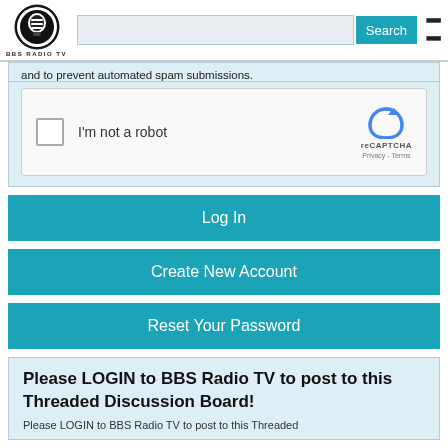BBS RADIO TV - Search button - hamburger menu
and to prevent automated spam submissions.
[Figure (screenshot): reCAPTCHA widget with checkbox labeled 'I'm not a robot' and reCAPTCHA logo with Privacy and Terms links]
Log In
Create New Account
Reset Your Password
Please LOGIN to BBS Radio TV to post to this Threaded Discussion Board!
Please LOGIN to BBS Radio TV to post to this Threaded